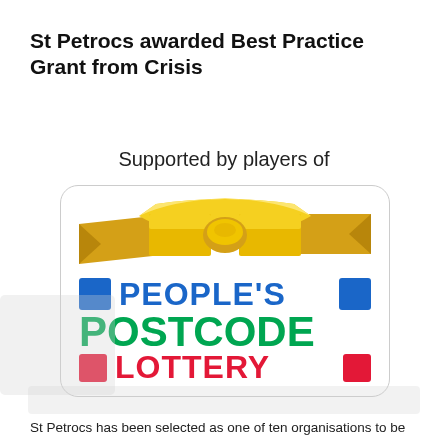St Petrocs awarded Best Practice Grant from Crisis
Supported by players of
[Figure (logo): People's Postcode Lottery logo with gold ribbon banner at top, blue squares and blue text reading PEOPLE'S, green text reading POSTCODE, red squares and red text reading LOTTERY]
St Petrocs has been selected as one of ten organisations to be